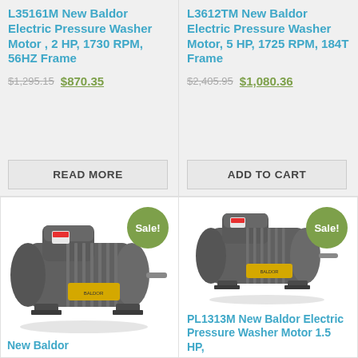L35161M New Baldor Electric Pressure Washer Motor , 2 HP, 1730 RPM, 56HZ Frame
$1,295.15 $870.35
READ MORE
L3612TM New Baldor Electric Pressure Washer Motor, 5 HP, 1725 RPM, 184T Frame
$2,405.95 $1,080.36
ADD TO CART
[Figure (photo): Baldor electric motor, gray, with yellow label, shown at angle. Sale badge overlay.]
New Baldor
[Figure (photo): Baldor electric motor PL1313M, gray, with yellow label, shown at angle. Sale badge overlay.]
PL1313M New Baldor Electric Pressure Washer Motor 1.5 HP,